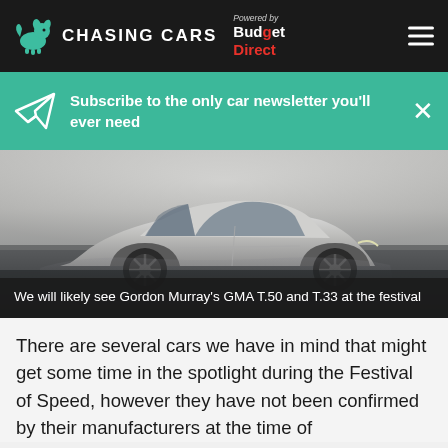CHASING CARS — Powered by Budget Direct
Subscribe to the only car newsletter you'll ever need
[Figure (photo): Silver supercar (Gordon Murray GMA T.50/T.33) parked on a reflective floor in a studio setting, viewed from the side]
We will likely see Gordon Murray's GMA T.50 and T.33 at the festival
There are several cars we have in mind that might get some time in the spotlight during the Festival of Speed, however they have not been confirmed by their manufacturers at the time of